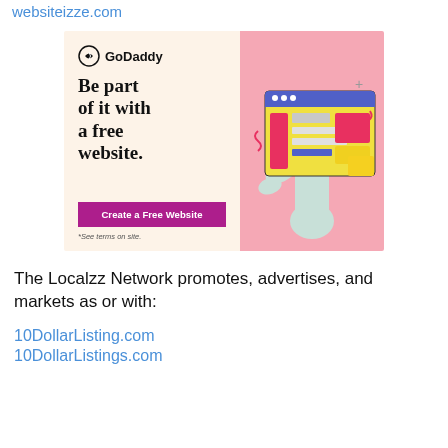websiteizze.com
[Figure (illustration): GoDaddy advertisement banner. Left side has cream/beige background with GoDaddy logo, bold text 'Be part of it with a free website.', a magenta 'Create a Free Website' button, and '*See terms on site.' text. Right side has a pink background with a 3D illustration of hands holding a computer/website interface graphic.]
The Localzz Network promotes, advertises, and markets as or with:
10DollarListing.com
10DollarListings.com